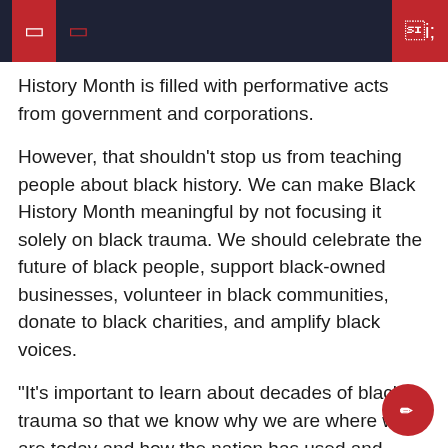navigation bar with icons
History Month is filled with performative acts from government and corporations.
However, that shouldn’t stop us from teaching people about black history. We can make Black History Month meaningful by not focusing it solely on black trauma. We should celebrate the future of black people, support black-owned businesses, volunteer in black communities, donate to black charities, and amplify black voices.
“It’s important to learn about decades of black trauma so that we know why we are where we are today and how the nation has used and abused black bodies,” said Makalee Cooper (23Ox ).
Together, as a community, we can use this month not only to recognize historic black leaders, but also to help black